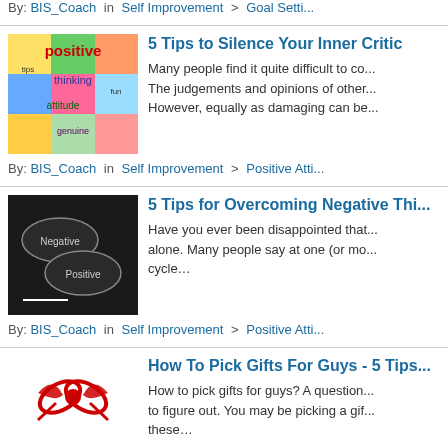By: BIS_Coach in  Self Improvement  >  Goal Setting
[Figure (illustration): Colorful 'positive thinking' word cloud image with words like positive, thinking, attitude, genuine]
5 Tips to Silence Your Inner Critic
Many people find it quite difficult to co... The judgements and opinions of other... However, equally as damaging can be...
By: BIS_Coach in  Self Improvement  >  Positive Atti...
[Figure (photo): Dark chalkboard image with speech bubbles labeled 'Negative' and 'Positive']
5 Tips for Overcoming Negative Thi...
Have you ever been disappointed that... alone. Many people say at one (or mo... cycle…
By: BIS_Coach in  Self Improvement  >  Positive Atti...
[Figure (illustration): Red ribbon bow gift image]
How To Pick Gifts For Guys - 5 Tips...
How to pick gifts for guys? A question... to figure out. You may be picking a gif... these…
By: Shaun Fern in  Shopping and Product Reviews  >
[Figure (photo): Dark image with text 'GRATITUDE']
Do You Want To Be Happy? Don't F...